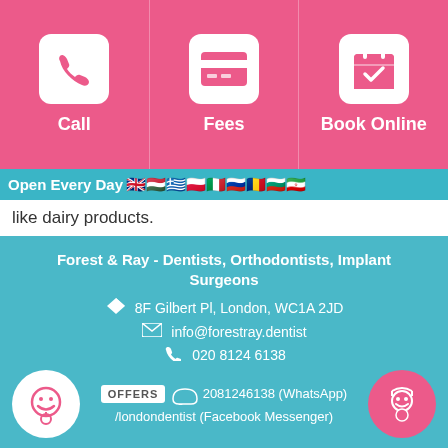[Figure (infographic): Three pink navigation buttons: Call (phone icon), Fees (credit card icon), Book Online (calendar with checkmark icon)]
Open Every Day 🇬🇧 🇭🇺 🇬🇷 🇵🇱 🇮🇹 🇷🇺 🇷🇴 🇧🇬 🇮🇷
like dairy products.
Forest & Ray - Dentists, Orthodontists, Implant Surgeons
8F Gilbert Pl, London, WC1A 2JD
info@forestray.dentist
020 8124 6138
2081246138 (WhatsApp)
/londondentist (Facebook Messenger)